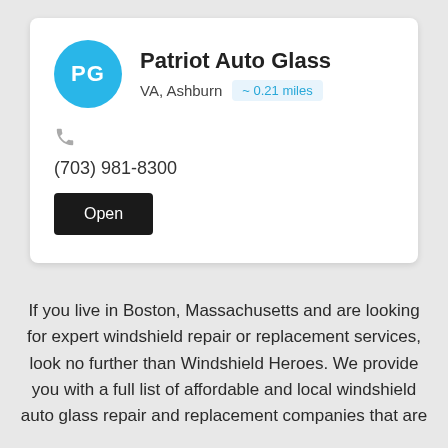Patriot Auto Glass
VA, Ashburn  ~ 0.21 miles
(703) 981-8300
Open
If you live in Boston, Massachusetts and are looking for expert windshield repair or replacement services, look no further than Windshield Heroes. We provide you with a full list of affordable and local windshield auto glass repair and replacement companies that are